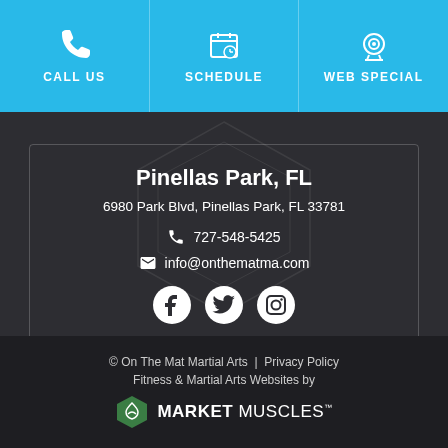CALL US | SCHEDULE | WEB SPECIAL
Pinellas Park, FL
6980 Park Blvd, Pinellas Park, FL 33781
727-548-5425
info@onthematma.com
[Figure (infographic): Social media icons: Facebook, Twitter, Instagram]
© On The Mat Martial Arts | Privacy Policy
Fitness & Martial Arts Websites by
MARKET MUSCLES™